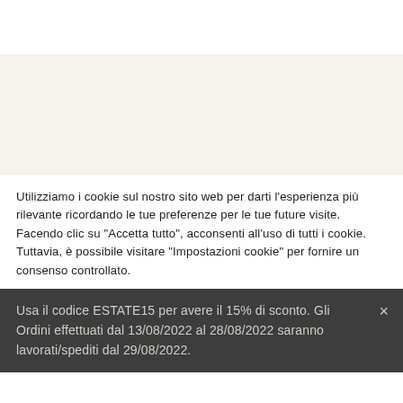Utilizziamo i cookie sul nostro sito web per darti l'esperienza più rilevante ricordando le tue preferenze per le tue future visite. Facendo clic su "Accetta tutto", acconsenti all'uso di tutti i cookie. Tuttavia, è possibile visitare "Impostazioni cookie" per fornire un consenso controllato.
Usa il codice ESTATE15 per avere il 15% di sconto. Gli Ordini effettuati dal 13/08/2022 al 28/08/2022 saranno lavorati/spediti dal 29/08/2022.